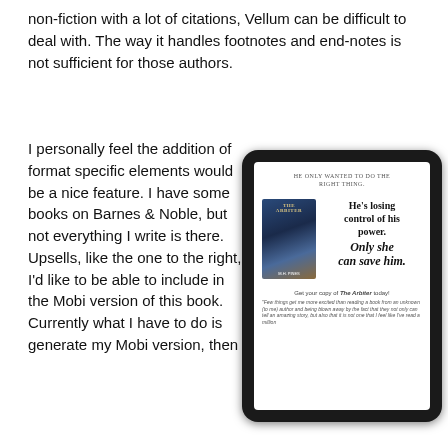non-fiction with a lot of citations, Vellum can be difficult to deal with. The way it handles footnotes and end-notes is not sufficient for those authors.
I personally feel the addition of format specific elements would be a nice feature. I have some books on Barnes & Noble, but not everything I write is there. Upsells, like the one to the right, I’d like to be able to include in the Mobi version of this book. Currently what I have to do is generate my Mobi version, then
[Figure (illustration): A tablet device showing a book upsell page for 'The Arbiter'. The screen shows the tagline 'HE ONLY WANTED TO DO THE RIGHT THING.' with a book cover image on the left and text 'He’s losing control of his power. Only she can save him.' on the right. Below is 'Get your copy of The Arbiter today!' and a review quote.]